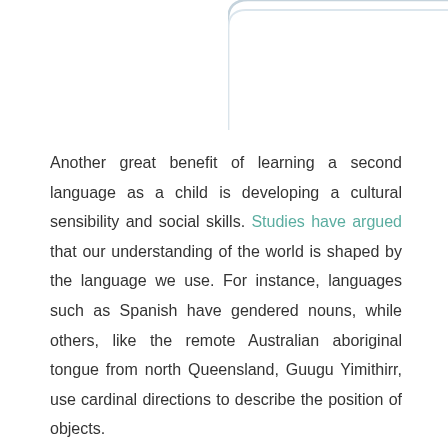[Figure (other): Decorative rounded corner border element in the top-right area of the page]
Another great benefit of learning a second language as a child is developing a cultural sensibility and social skills. Studies have argued that our understanding of the world is shaped by the language we use. For instance, languages such as Spanish have gendered nouns, while others, like the remote Australian aboriginal tongue from north Queensland, Guugu Yimithirr, use cardinal directions to describe the position of objects.